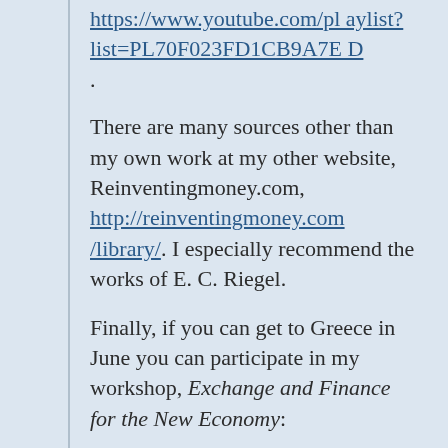https://www.youtube.com/playlist?list=PL70F023FD1CB9A7ED.
There are many sources other than my own work at my other website, Reinventingmoney.com, http://reinventingmoney.com/library/. I especially recommend the works of E. C. Riegel.
Finally, if you can get to Greece in June you can participate in my workshop, Exchange and Finance for the New Economy: